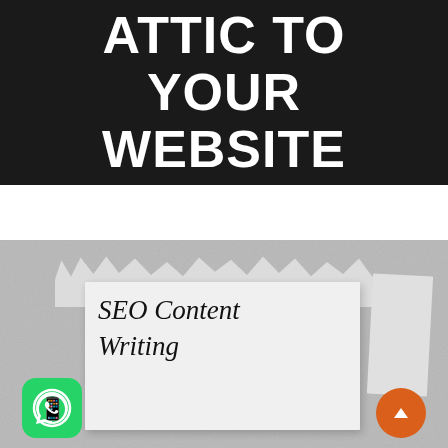ATTIC TO YOUR WEBSITE
[Figure (photo): Torn paper revealing 'SEO Content Writing' in cursive handwriting on a gray fabric background, with a green WhatsApp icon on the bottom left and an orange scroll-up button on the bottom right]